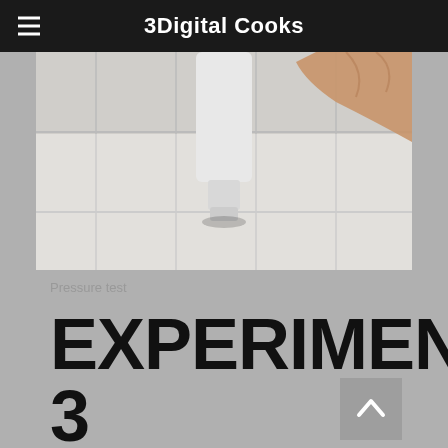3Digital Cooks
[Figure (photo): Photo of a plastic bottle held upside down against white tiled surface, appears to be a pressure test]
Pressure test
EXPERIMENT 3